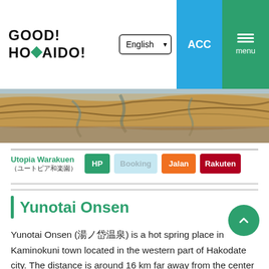[Figure (logo): GOOD! HOKKAIDO! logo with green diamond shape replacing 'KK']
[Figure (screenshot): Navigation bar with English language selector, ACC button (blue), and menu button (green)]
[Figure (photo): Banner photo showing aerial or landscape view of sandy/rocky terrain with waterways]
Utopia Warakuen (ユートピア和楽園)
HP  Booking  Jalan  Rakuten
Yunotai Onsen
Yunotai Onsen (湯ノ岱温泉) is a hot spring place in Kaminokuni town located in the western part of Hakodate city. The distance is around 16 km far away from the center of the Kaminokuni, and Kaminokuni Onsen National Health Center (上ノ国町国民温泉保